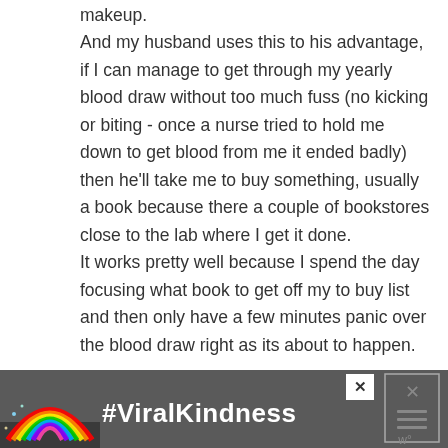makeup. And my husband uses this to his advantage, if I can manage to get through my yearly blood draw without too much fuss (no kicking or biting - once a nurse tried to hold me down to get blood from me it ended badly) then he'll take me to buy something, usually a book because there a couple of bookstores close to the lab where I get it done. It works pretty well because I spend the day focusing what book to get off my to buy list and then only have a few minutes panic over the blood draw right as its about to happen.
[Figure (infographic): Advertisement banner with rainbow illustration and #ViralKindness hashtag on dark background, with close/dismiss button]